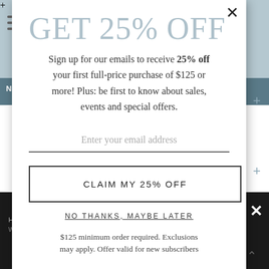[Figure (screenshot): Website background with navigation bar, hamburger menu, filter icons, and dark bottom section visible behind a popup modal]
GET 25% OFF
Sign up for our emails to receive 25% off your first full-price purchase of $125 or more! Plus: be first to know about sales, events and special offers.
Enter your email address
CLAIM MY 25% OFF
NO THANKS, MAYBE LATER
$125 minimum order required. Exclusions may apply. Offer valid for new subscribers